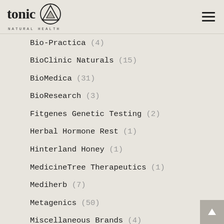tonic NATURAL HEALTH
Bio-Practica (4)
BioClinic Naturals (15)
BioMedica (31)
BioResearch (3)
Fitgenes Genetic Testing (2)
Herbal Hormone Rest (1)
Hinterland Honey (1)
MedicineTree Therapeutics (1)
Mediherb (7)
Metagenics (50)
Miscellaneous Brands (4)
Mygen (1)
Orthoplex (19)